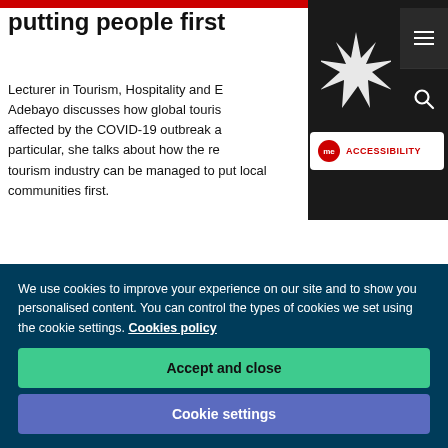putting people first
Lecturer in Tourism, Hospitality and Events, Dr Adebayo discusses how global tourism has been affected by the COVID-19 outbreak and how, in particular, she talks about how the recovery of the tourism industry can be managed to put local communities first.
[Figure (photo): Overhead photo of a city map with pencils and a miniature red bus, travel planning concept]
We use cookies to improve your experience on our site and to show you personalised content. You can control the types of cookies we set using the cookie settings. Cookies policy
Accept and close
Cookie settings